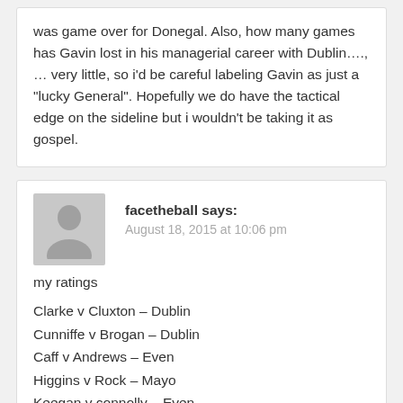was game over for Donegal. Also, how many games has Gavin lost in his managerial career with Dublin…., … very little, so i'd be careful labeling Gavin as just a "lucky General". Hopefully we do have the tactical edge on the sideline but i wouldn't be taking it as gospel.
facetheball says: August 18, 2015 at 10:06 pm
my ratings
Clarke v Cluxton – Dublin
Cunniffe v Brogan – Dublin
Caff v Andrews – Even
Higgins v Rock – Mayo
Keegan v connolly – Even
Vaughan v kilkenny – Mayo
Boyle v Flynn – Even
Midfield – Mayo